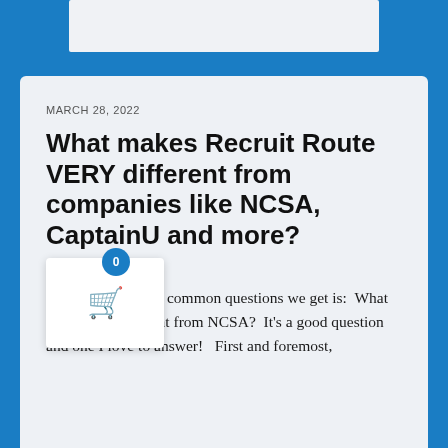MARCH 28, 2022
What makes Recruit Route VERY different from companies like NCSA, CaptainU and more?
One of the most common questions we get is: What makes you different from NCSA?  It's a good question and one I love to answer!  First and foremost,